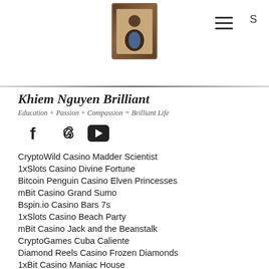Khiem Nguyen Brilliant — site header with logo, hamburger menu, and S letter
Khiem Nguyen Brilliant
Education + Passion + Compassion = Brilliant Life
CryptoWild Casino Madder Scientist
1xSlots Casino Divine Fortune
Bitcoin Penguin Casino Elven Princesses
mBit Casino Grand Sumo
Bspin.io Casino Bars 7s
1xSlots Casino Beach Party
mBit Casino Jack and the Beanstalk
CryptoGames Cuba Caliente
Diamond Reels Casino Frozen Diamonds
1xBit Casino Maniac House
https://www.iunoconnolly.com/profile/peggieecheverry18228361/profile
https://www.add-